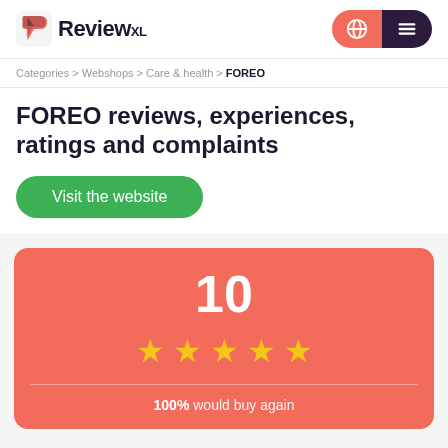[Figure (logo): ReviewXL logo with speech bubble icon in red/pink and dark text]
Categories > Webshops > Care & health > FOREO
FOREO reviews, experiences, ratings and complaints
Visit the website
[Figure (infographic): Rating card with score 10, five gold stars, and '100% would buy again' on coral/red background]